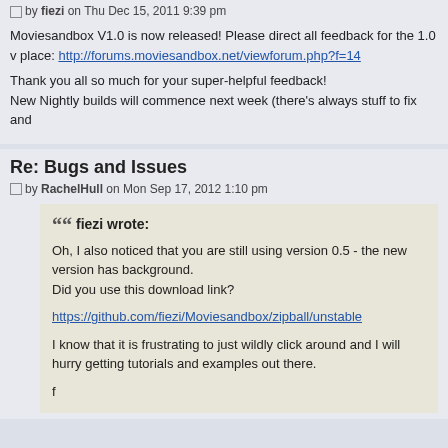Re: Bugs and Issues (partial title visible at top)
by fiezi on Thu Dec 15, 2011 9:39 pm
Moviesandbox V1.0 is now released! Please direct all feedback for the 1.0 v place: http://forums.moviesandbox.net/viewforum.php?f=14
Thank you all so much for your super-helpful feedback!
New Nightly builds will commence next week (there's always stuff to fix and
Re: Bugs and Issues
by RachelHull on Mon Sep 17, 2012 1:10 pm
fiezi wrote:
Oh, I also noticed that you are still using version 0.5 - the new version has background.
Did you use this download link?

https://github.com/fiezi/Moviesandbox/zipball/unstable

I know that it is frustrating to just wildly click around and I will hurry getting tutorials and examples out there.

f